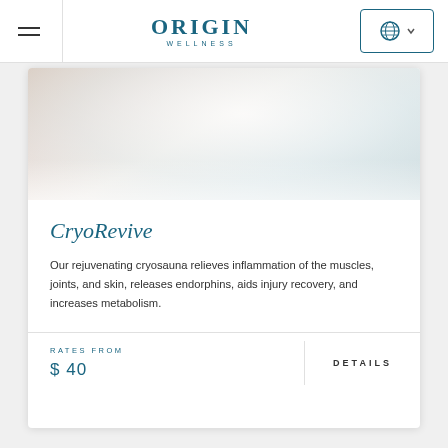ORIGIN WELLNESS
[Figure (photo): A misty, soft-focus cryosauna photo with warm white and grey tones showing vapour/mist]
CryoRevive
Our rejuvenating cryosauna relieves inflammation of the muscles, joints, and skin, releases endorphins, aids injury recovery, and increases metabolism.
RATES FROM
$ 40
DETAILS